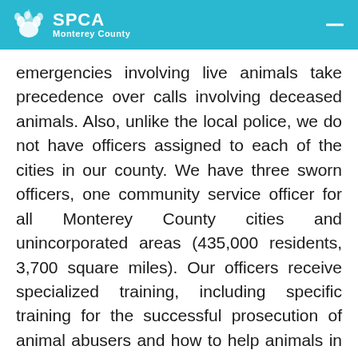SPCA Monterey County
emergencies involving live animals take precedence over calls involving deceased animals. Also, unlike the local police, we do not have officers assigned to each of the cities in our county. We have three sworn officers, one community service officer for all Monterey County cities and unincorporated areas (435,000 residents, 3,700 square miles). Our officers receive specialized training, including specific training for the successful prosecution of animal abusers and how to help animals in need. We take cases to the Monterey County District Attorney's Office when we have sufficient evidence of a crime and the person or persons responsible. All too